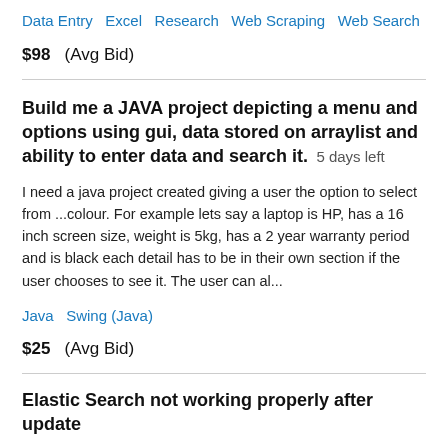Data Entry   Excel   Research   Web Scraping   Web Search
$98  (Avg Bid)
Build me a JAVA project depicting a menu and options using gui, data stored on arraylist and ability to enter data and search it.  5 days left
I need a java project created giving a user the option to select from ...colour. For example lets say a laptop is HP, has a 16 inch screen size, weight is 5kg, has a 2 year warranty period and is black each detail has to be in their own section if the user chooses to see it. The user can al...
Java   Swing (Java)
$25  (Avg Bid)
Elastic Search not working properly after update